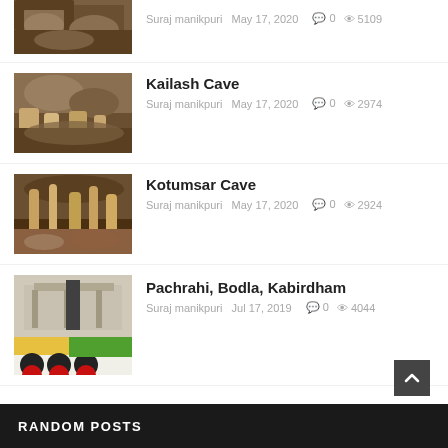[Figure (photo): Partial cave interior photo at top of page]
Suraj manikpuri  May 17, 2020  💬 0  👁 5109
[Figure (photo): Cave interior with stalactites - Kailash Cave]
Kailash Cave
Suraj manikpuri  May 17, 2020  💬 0  👁 2974
[Figure (photo): Cave interior with stalagmites - Kotumsar Cave]
Kotumsar Cave
Suraj manikpuri  May 17, 2020  💬 0  👁 2924
[Figure (photo): Outdoor structure with signage - Pachrahi, Bodla, Kabirdham]
Pachrahi, Bodla, Kabirdham
Suraj manikpuri  Jul 17, 2019  💬 0  👁 4044
RANDOM POSTS